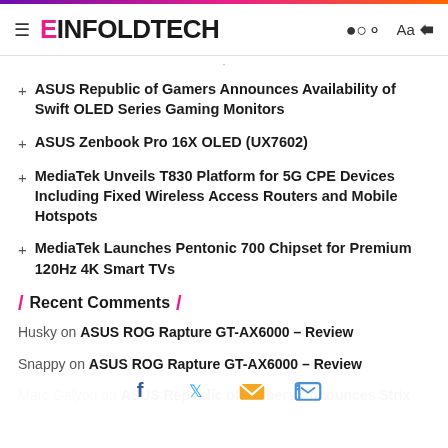EINFOLDTECH
ASUS Republic of Gamers Announces Availability of Swift OLED Series Gaming Monitors
ASUS Zenbook Pro 16X OLED (UX7602)
MediaTek Unveils T830 Platform for 5G CPE Devices Including Fixed Wireless Access Routers and Mobile Hotspots
MediaTek Launches Pentonic 700 Chipset for Premium 120Hz 4K Smart TVs
Recent Comments
Husky on ASUS ROG Rapture GT-AX6000 – Review
Snappy on ASUS ROG Rapture GT-AX6000 – Review
Marc Galyon on ASUS Republic of Gamers Announces Strix